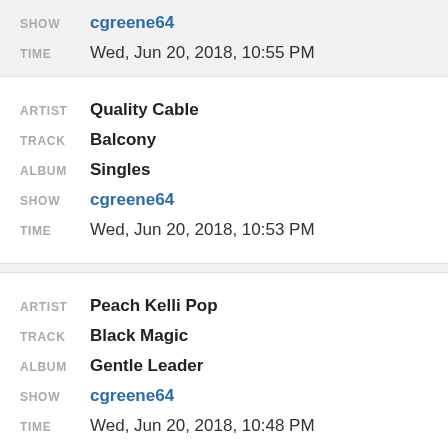SHOW  cgreene64 | TIME  Wed, Jun 20, 2018, 10:55 PM
| Label | Value |
| --- | --- |
| ARTIST | Quality Cable |
| TRACK | Balcony |
| ALBUM | Singles |
| SHOW | cgreene64 |
| TIME | Wed, Jun 20, 2018, 10:53 PM |
| Label | Value |
| --- | --- |
| ARTIST | Peach Kelli Pop |
| TRACK | Black Magic |
| ALBUM | Gentle Leader |
| SHOW | cgreene64 |
| TIME | Wed, Jun 20, 2018, 10:48 PM |
| Label | Value |
| --- | --- |
| ARTIST | Drahla |
| TRACK | Dog Collar Guillotine |